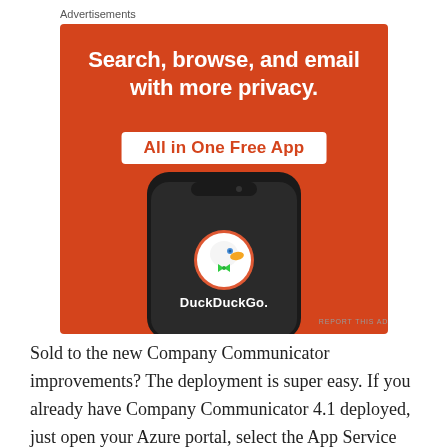Advertisements
[Figure (illustration): DuckDuckGo advertisement on an orange background. Headline reads 'Search, browse, and email with more privacy.' with a white button saying 'All in One Free App'. A smartphone showing the DuckDuckGo app logo and name is displayed below.]
REPORT THIS AD
Sold to the new Company Communicator improvements? The deployment is super easy. If you already have Company Communicator 4.1 deployed, just open your Azure portal, select the App Service you are using to host the application